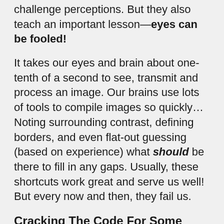challenge perceptions. But they also teach an important lesson—eyes can be fooled!
It takes our eyes and brain about one-tenth of a second to see, transmit and process an image. Our brains use lots of tools to compile images so quickly… Noting surrounding contrast, defining borders, and even flat-out guessing (based on experience) what should be there to fill in any gaps. Usually, these shortcuts work great and serve us well! But every now and then, they fail us.
Cracking The Code For Some Common Illusions
This video outlines a few common optical illusions and explains how our eyes and brains gather visual information to create the 3D world in which we live.